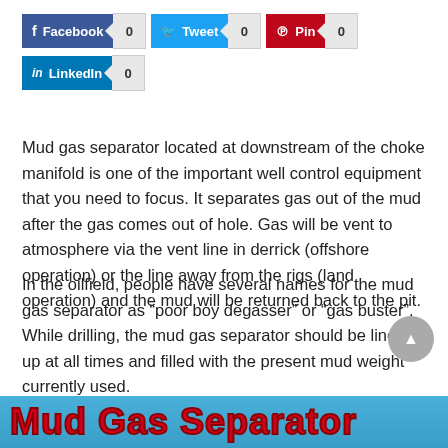[Figure (screenshot): Social media share buttons: Facebook (0), Tweet (0), Pin (0), LinkedIn (0)]
Mud gas separator located at downstream of the choke manifold is one of the important well control equipment that you need to focus. It separates gas out of the mud after the gas comes out of hole. Gas will be vent to atmosphere via the vent line in derrick (offshore operation) or the line away from the rigs (land operation) and the mud will be returned back to the pit.
In the oilfield, people have several names for the mud gas separator as “poor boy degasser” or “gas buster”. While drilling, the mud gas separator should be lined up at all times and filled with the present mud weight currently used.
[Figure (illustration): Partial view of a banner image with blue background and red bold text reading 'Mud Gas Separator']